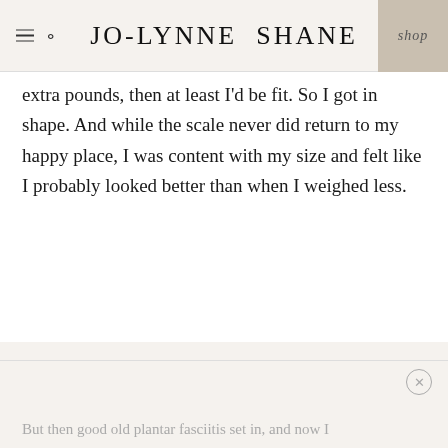JO-LYNNE SHANE | shop
extra pounds, then at least I'd be fit. So I got in shape. And while the scale never did return to my happy place, I was content with my size and felt like I probably looked better than when I weighed less.
But then good old plantar fasciitis set in, and now I